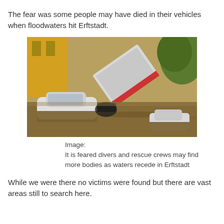The fear was some people may have died in their vehicles when floodwaters hit Erftstadt.
[Figure (photo): Flood scene in Erftstadt showing cars and a large vehicle submerged or tilted in brown floodwater, with a yellow building visible in the background.]
Image:
It is feared divers and rescue crews may find more bodies as waters recede in Erftstadt
While we were there no victims were found but there are vast areas still to search here.